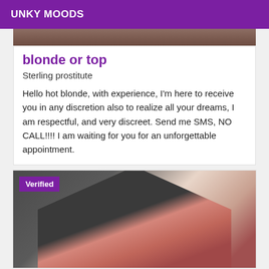UNKY MOODS
[Figure (photo): Top portion of a person photo (cropped, top strip visible)]
blonde or top
Sterling prostitute
Hello hot blonde, with experience, I'm here to receive you in any discretion also to realize all your dreams, I am respectful, and very discreet. Send me SMS, NO CALL!!!! I am waiting for you for an unforgettable appointment.
[Figure (photo): Photo of a person in a dark suit with a red/pink tie, verified badge overlay in upper left]